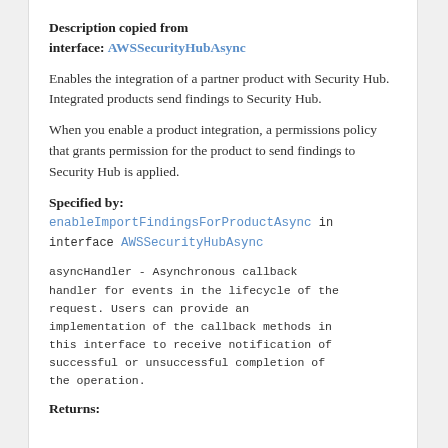Description copied from interface: AWSSecurityHubAsync
Enables the integration of a partner product with Security Hub. Integrated products send findings to Security Hub.
When you enable a product integration, a permissions policy that grants permission for the product to send findings to Security Hub is applied.
Specified by:
enableImportFindingsForProductAsync in interface AWSSecurityHubAsync
asyncHandler - Asynchronous callback handler for events in the lifecycle of the request. Users can provide an implementation of the callback methods in this interface to receive notification of successful or unsuccessful completion of the operation.
Returns: